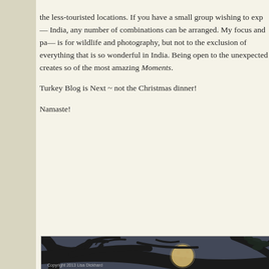the less-touristed locations. If you have a small group wishing to explore India, any number of combinations can be arranged. My focus and passion is for wildlife and photography, but not to the exclusion of everything that is so wonderful in India. Being open to the unexpected creates so of the most amazing Moments.
Turkey Blog is Next ~ not the Christmas dinner!
Namaste!
[Figure (photo): Photograph of a full moon visible through silhouetted bare tree branches against a dark blue-grey sky. Copyright watermark reads 'Copyright 2013 Lisa Dickhard' at the bottom left.]